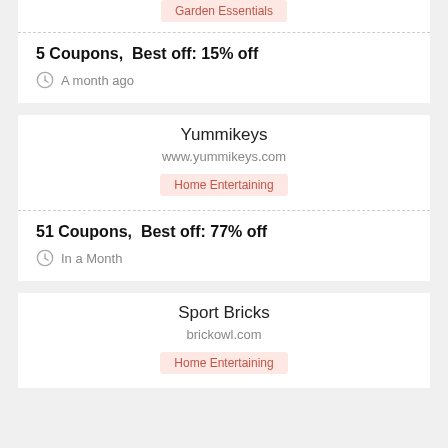Garden Essentials
5 Coupons,  Best off: 15% off
A month ago
Yummikeys
www.yummikeys.com
Home Entertaining
51 Coupons,  Best off: 77% off
In a Month
Sport Bricks
brickowl.com
Home Entertaining